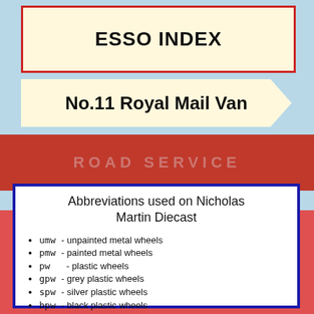ESSO INDEX
No.11 Royal Mail Van
Abbreviations used on Nicholas Martin Diecast
umw - unpainted metal wheels
pmw - painted metal wheels
pw  - plastic wheels
gpw - grey plastic wheels
spw - silver plastic wheels
bpw - black plastic wheels
um  - unpainted metal
id.  - maker's identification
Most images on model pages will enlarge with a click